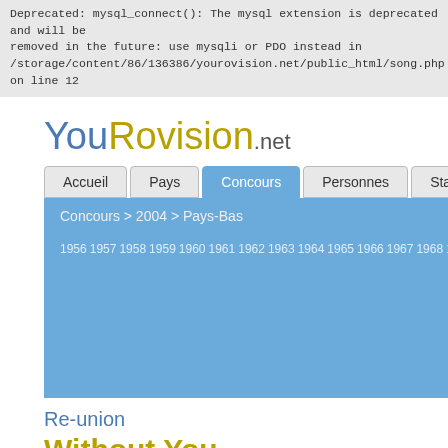Deprecated: mysql_connect(): The mysql extension is deprecated and will be removed in the future: use mysqli or PDO instead in /storage/content/86/136386/yourovision.net/public_html/song.php on line 12
YouRovision.net
Accueil | Pays | Concours | Personnes | Statistique
Concours > 2004 > Pays-Bas
1956 1957 1958 1959 1960 1961 1962 1963 1964 1965 1966 1967 1968 1969 1970 1971 1972 1973 1974 1975 1976 1977 1978 1979 1980 1981 1982 1983 1984 1985 1986 1987 1988 1989 1990 1991 1992 1993 1994 1995 1996 1997 1998 1999 2000 2001 2002 2003 2004 2005 2006 2007
[Figure (photo): Dark background with white angled text showing country names: MALTA, ITALY, SPAIN, IRELAND, SWEDEN, PORTUGAL, ISRAEL, FRANCE, LUXEMBOURG, IRELAND, NETHERLANDS]
Re-union
Without You
La contribution de Pays-Bas au Concours Eurovision de la Chanson 2004.